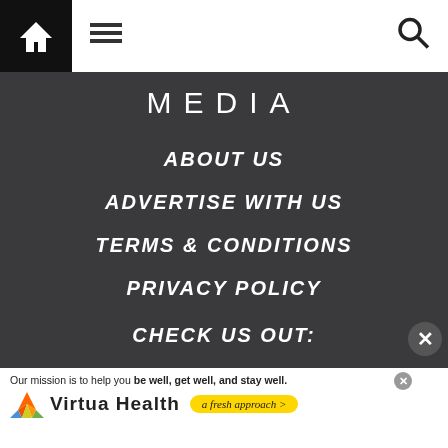Navigation bar with home, menu, and search icons
MEDIA
ABOUT US
ADVERTISE WITH US
TERMS & CONDITIONS
PRIVACY POLICY
CHECK US OUT:
[Figure (screenshot): Virtua Health advertisement banner with text: Our mission is to help you be well, get well, and stay well. Virtua Health - a fresh approach >]